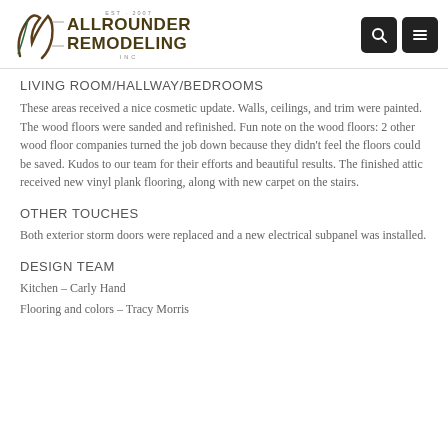ALLROUNDER REMODELING INC
LIVING ROOM/HALLWAY/BEDROOMS
These areas received a nice cosmetic update.  Walls, ceilings, and trim were painted.  The wood floors were sanded and refinished.  Fun note on the wood floors:  2 other wood floor companies turned the job down because they didn't feel the floors could be saved.  Kudos to our team for their efforts and beautiful results.  The finished attic received new vinyl plank flooring, along with new carpet on the stairs.
OTHER TOUCHES
Both exterior storm doors were replaced and a new electrical subpanel was installed.
DESIGN TEAM
Kitchen – Carly Hand
Flooring and colors – Tracy Morris